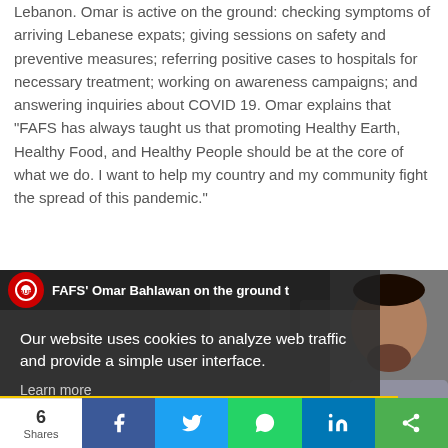Lebanon. Omar is active on the ground: checking symptoms of arriving Lebanese expats; giving sessions on safety and preventive measures; referring positive cases to hospitals for necessary treatment; working on awareness campaigns; and answering inquiries about COVID 19. Omar explains that "FAFS has always taught us that promoting Healthy Earth, Healthy Food, and Healthy People should be at the core of what we do. I want to help my country and my community fight the spread of this pandemic."
[Figure (screenshot): Video thumbnail showing FAFS Omar Bahlawan on the ground, with AUB logo overlay and a man speaking on camera]
Our website uses cookies to analyze web traffic and provide a simple user interface.
Learn more
Got it!
6 Shares | Facebook | Twitter | WhatsApp | LinkedIn | Share